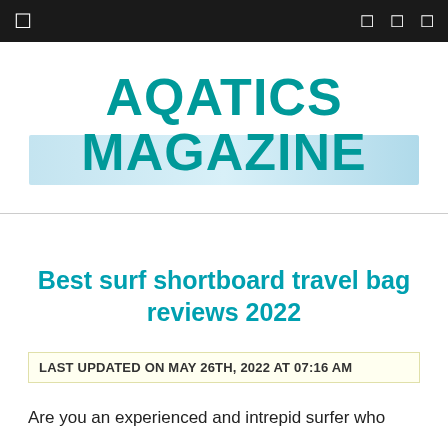☰   ⊞ ⊟ ✕
[Figure (logo): Aqatics Magazine logo — teal bold text on light blue gradient background]
Best surf shortboard travel bag reviews 2022
LAST UPDATED ON MAY 26TH, 2022 AT 07:16 AM
Are you an experienced and intrepid surfer who